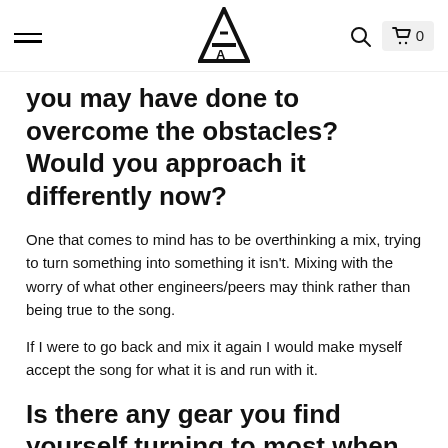[logo] [search] [cart 0]
you may have done to overcome the obstacles? Would you approach it differently now?
One that comes to mind has to be overthinking a mix, trying to turn something into something it isn't. Mixing with the worry of what other engineers/peers may think rather than being true to the song.
If I were to go back and mix it again I would make myself accept the song for what it is and run with it.
Is there any gear you find yourself turning to most when working on a project? What are some of your favorite tools/instruments recently?